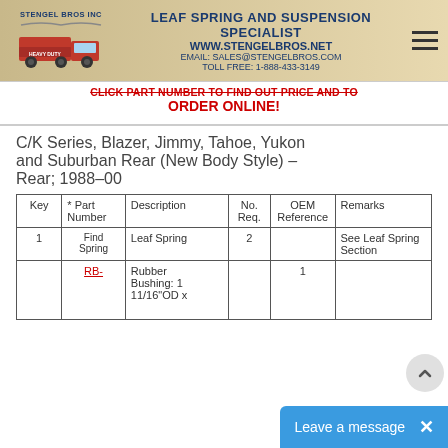[Figure (logo): Stengel Bros Inc banner with truck photo, company name, leaf spring and suspension specialist, website, email, toll free number]
CLICK PART NUMBER TO FIND OUT PRICE AND TO ORDER ONLINE!
C/K Series, Blazer, Jimmy, Tahoe, Yukon and Suburban Rear (New Body Style) – Rear; 1988–00
| Key | * Part Number | Description | No. Req. | OEM Reference | Remarks |
| --- | --- | --- | --- | --- | --- |
| 1 | Find Spring | Leaf Spring | 2 |  | See Leaf Spring Section |
| 2 | RB- | Rubber Bushing: 1 11/16"OD x | 4 | 1 |  |